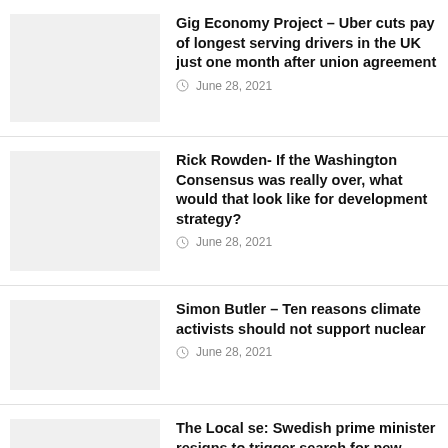Gig Economy Project – Uber cuts pay of longest serving drivers in the UK just one month after union agreement | June 28, 2021
Rick Rowden- If the Washington Consensus was really over, what would that look like for development strategy? | June 28, 2021
Simon Butler – Ten reasons climate activists should not support nuclear | June 28, 2021
The Local se: Swedish prime minister resigns to trigger search for new government | June 28, 2021